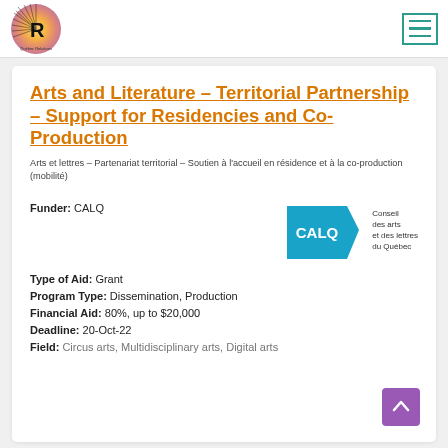Québec Relations — navigation header with logo and hamburger menu
Arts and Literature – Territorial Partnership – Support for Residencies and Co-Production
Arts et lettres – Partenariat territorial – Soutien à l'accueil en résidence et à la co-production (mobilité)
Funder: CALQ
[Figure (logo): CALQ logo — blue pentagon shape with CALQ in white text, beside text reading Conseil des arts et des lettres du Québec]
Type of Aid: Grant
Program Type: Dissemination, Production
Financial Aid: 80%, up to $20,000
Deadline: 20-Oct-22
Field: Circus arts, Multidisciplinary arts, Digital arts